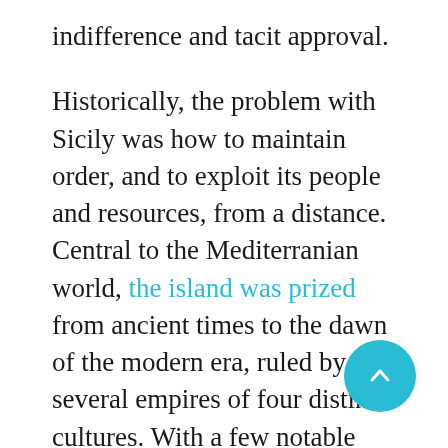indifference and tacit approval.
Historically, the problem with Sicily was how to maintain order, and to exploit its people and resources, from a distance. Central to the Mediterranian world, the island was prized from ancient times to the dawn of the modern era, ruled by several empires of four distinct cultures. With a few notable exceptions, order through the ages was maintained with generous helpings of terror and violence.
The history of Sicilian cruelty stretches back millennia. Greek and Carthaginian city states